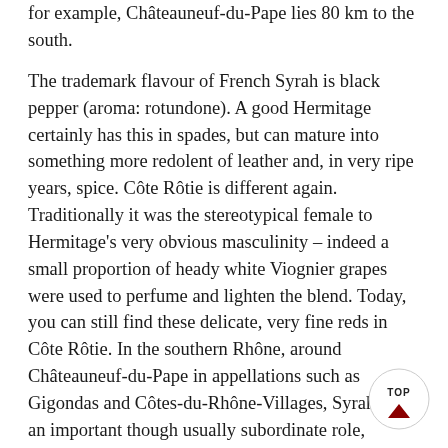for example, Châteauneuf-du-Pape lies 80 km to the south.
The trademark flavour of French Syrah is black pepper (aroma: rotundone). A good Hermitage certainly has this in spades, but can mature into something more redolent of leather and, in very ripe years, spice. Côte Rôtie is different again. Traditionally it was the stereotypical female to Hermitage's very obvious masculinity – indeed a small proportion of heady white Viognier grapes were used to perfume and lighten the blend. Today, you can still find these delicate, very fine reds in Côte Rôtie. In the southern Rhône, around Châteauneuf-du-Pape in appellations such as Gigondas and Côtes-du-Rhône-Villages, Syrah plays an important though usually subordinate role, typically adding structure to the dominant Grenache grape and other